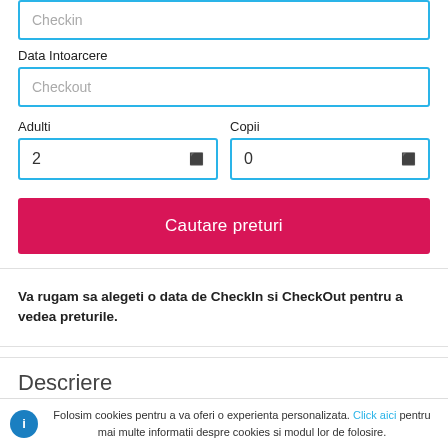Data Intoarcere
Checkout
Adulti
Copii
2
0
Cautare preturi
Va rugam sa alegeti o data de CheckIn si CheckOut pentru a vedea preturile.
Descriere
Folosim cookies pentru a va oferi o experienta personalizata. Click aici pentru mai multe informatii despre cookies si modul lor de folosire.